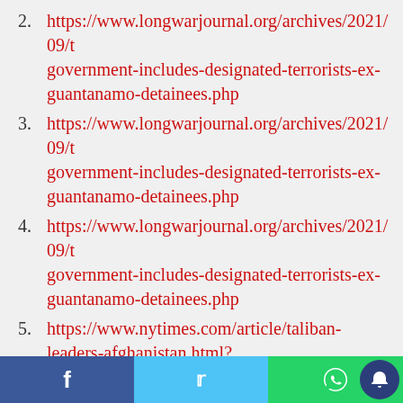2. https://www.longwarjournal.org/archives/2021/09/t government-includes-designated-terrorists-ex-guantanamo-detainees.php
3. https://www.longwarjournal.org/archives/2021/09/t government-includes-designated-terrorists-ex-guantanamo-detainees.php
4. https://www.longwarjournal.org/archives/2021/09/t government-includes-designated-terrorists-ex-guantanamo-detainees.php
5. https://www.nytimes.com/article/taliban-leaders-afghanistan.html?
6. https://www.longwarjournal.org/archives/2021/09/t government-includes-designated-terrorists-ex-guantanamo-detainees.php
7. https://www.nytimes.com/article/taliban-
f  Twitter  WhatsApp